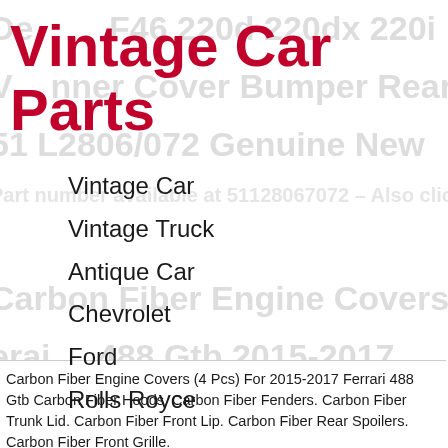Vintage Car Parts
Vintage Car
Vintage Truck
Antique Car
Chevrolet
Ford
Rolls Royce
Carbon Fiber Engine Covers (4 Pcs) For 2015-2017 Ferrari 488 Gtb Carbon Fiber Hoods. Carbon Fiber Fenders. Carbon Fiber Trunk Lid. Carbon Fiber Front Lip. Carbon Fiber Rear Spoilers. Carbon Fiber Front Grille.